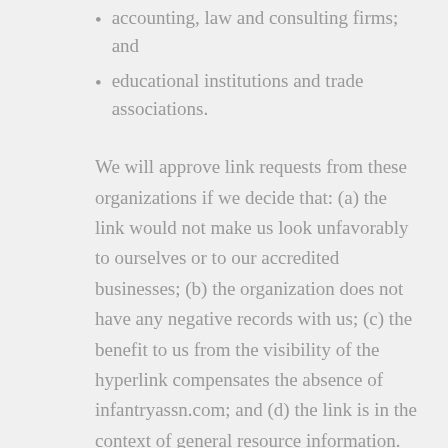accounting, law and consulting firms; and
educational institutions and trade associations.
We will approve link requests from these organizations if we decide that: (a) the link would not make us look unfavorably to ourselves or to our accredited businesses; (b) the organization does not have any negative records with us; (c) the benefit to us from the visibility of the hyperlink compensates the absence of infantryassn.com; and (d) the link is in the context of general resource information.